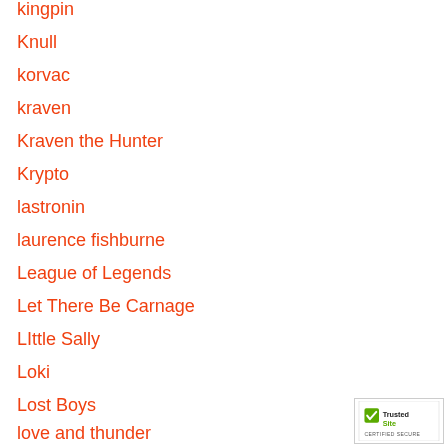kingpin
Knull
korvac
kraven
Kraven the Hunter
Krypto
lastronin
laurence fishburne
League of Legends
Let There Be Carnage
LIttle Sally
Loki
Lost Boys
love and thunder
[Figure (logo): TrustedSite Certified Secure badge]